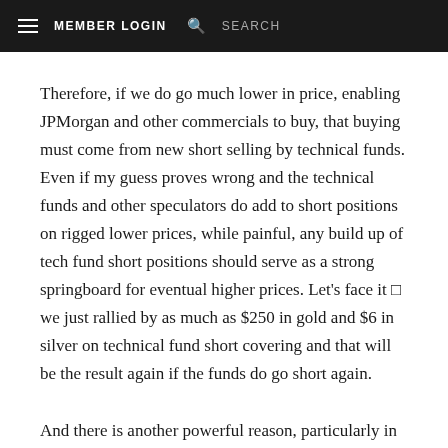MEMBER LOGIN  SEARCH
Therefore, if we do go much lower in price, enabling JPMorgan and other commercials to buy, that buying must come from new short selling by technical funds. Even if my guess proves wrong and the technical funds and other speculators do add to short positions on rigged lower prices, while painful, any build up of tech fund short positions should serve as a strong springboard for eventual higher prices. Let's face it □ we just rallied by as much as $250 in gold and $6 in silver on technical fund short covering and that will be the result again if the funds do go short again.
And there is another powerful reason, particularly in silver, arguing against a big build in tech find short positions and